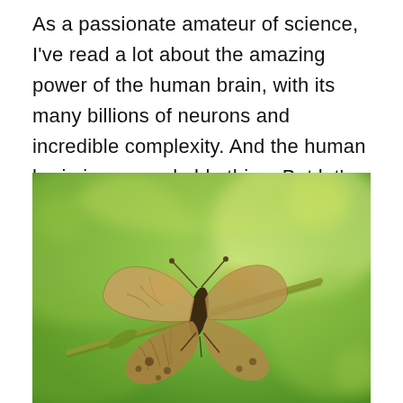As a passionate amateur of science, I've read a lot about the amazing power of the human brain, with its many billions of neurons and incredible complexity. And the human brain is a remarkable thing. But let's not kid ourselves. All of us, including the very smartest, are full of biases, unfounded assumptions, and prejudices. Our powers of reasoning are frequently misdirected by logical fallacies and overwhelmed by our basic urges. We are prone to making poor decisions.
[Figure (photo): Close-up photograph of a butterfly with mottled brown, tan and orange wing patterns perched on a green plant stem, with a blurred green background.]